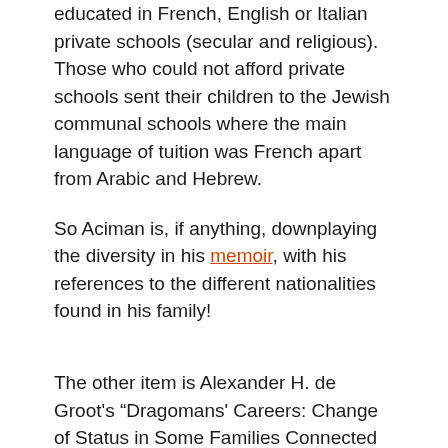educated in French, English or Italian private schools (secular and religious). Those who could not afford private schools sent their children to the Jewish communal schools where the main language of tuition was French apart from Arabic and Hebrew.
So Aciman is, if anything, downplaying the diversity in his memoir, with his references to the different nationalities found in his family!
The other item is Alexander H. de Groot's “Dragomans' Careers: Change of Status in Some Families Connected with the British and Dutch Embassies at Istanbul 1785-1829” (pdf; there doesn’t appear to be a cached version). Primarily concerned with diplomatic history and the divisions in the European community of Constantinople caused by the Napoleonic Wars, it presents a dizzying mix of nationalities and ethnicities among the dragomans who served as intermediaries between the European